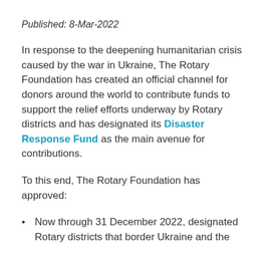Published: 8-Mar-2022
In response to the deepening humanitarian crisis caused by the war in Ukraine, The Rotary Foundation has created an official channel for donors around the world to contribute funds to support the relief efforts underway by Rotary districts and has designated its Disaster Response Fund as the main avenue for contributions.
To this end, The Rotary Foundation has approved:
Now through 31 December 2022, designated Rotary districts that border Ukraine and the